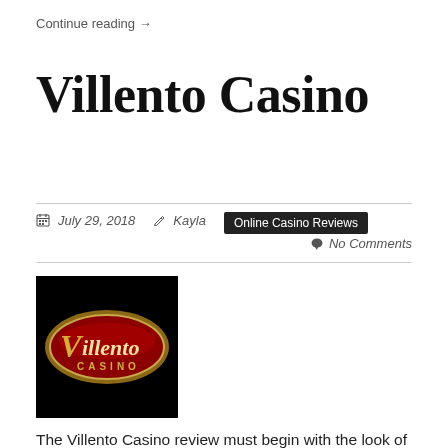Continue reading →
Villento Casino
July 29, 2018   Kayla   Online Casino Reviews   No Comments
[Figure (logo): Villento Casino logo: dark red oval with gold border on black background, showing 'Villento CASINO' text in gold/script lettering]
The Villento Casino review must begin with the look of the casino. The casino is made to simulate the looks and the functionality of the actual, Las Vegas casino. As such, we have a colourful and charismatic theme, nice sounds and